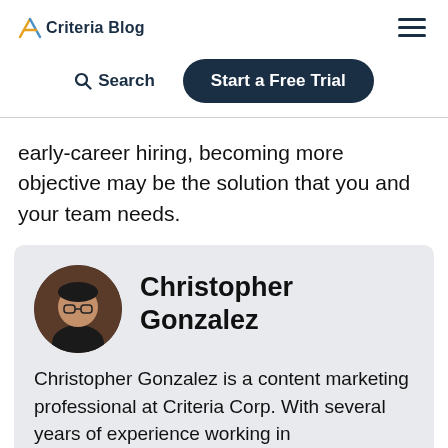Criteria Blog
Search  Start a Free Trial
early-career hiring, becoming more objective may be the solution that you and your team needs.
Christopher Gonzalez

Christopher Gonzalez is a content marketing professional at Criteria Corp. With several years of experience working in